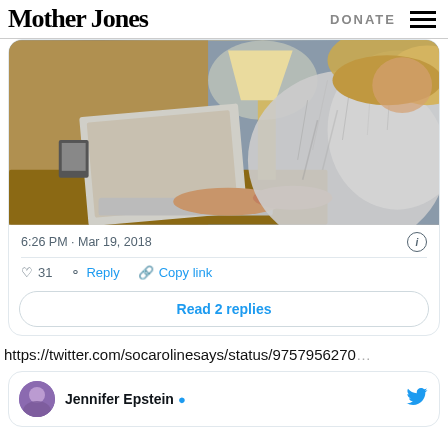Mother Jones | DONATE
[Figure (screenshot): Embedded tweet card showing a woman typing on a laptop wearing a fuzzy gray coat, with a lamp in the background. Tweet timestamp: 6:26 PM · Mar 19, 2018. 31 likes, Reply, Copy link actions. Read 2 replies button.]
https://twitter.com/socarolinesays/status/9757956270...
Jennifer Epstein ✓